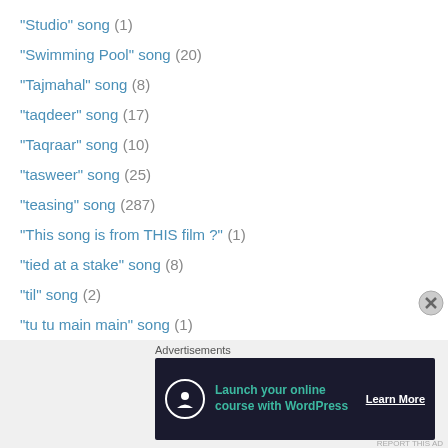"Studio" song (1)
"Swimming Pool" song (20)
"Tajmahal" song (8)
"taqdeer" song (17)
"Taqraar" song (10)
"tasweer" song (25)
"teasing" song (287)
"This song is from THIS film ?" (1)
"tied at a stake" song (8)
"til" song (2)
"tu tu main main" song (1)
"Typewriter" song (2)
"Umbrella" song (4)
"Veena" song (3)
"Villain's" den song (99)
"Waada" song (7)
Advertisements
[Figure (other): Advertisement banner: Launch your online course with WordPress - Learn More]